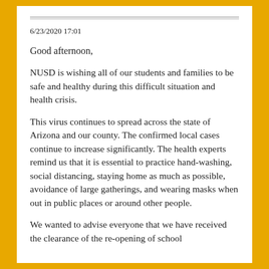6/23/2020 17:01
Good afternoon,
NUSD is wishing all of our students and families to be safe and healthy during this difficult situation and health crisis.
This virus continues to spread across the state of Arizona and our county. The confirmed local cases continue to increase significantly. The health experts remind us that it is essential to practice hand-washing, social distancing, staying home as much as possible, avoidance of large gatherings, and wearing masks when out in public places or around other people.
We wanted to advise everyone that we have received the clearance of the re-opening of school...